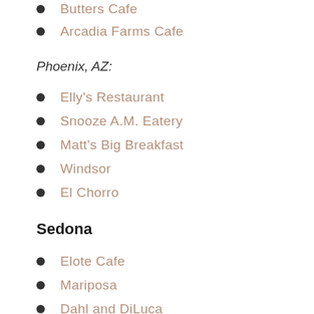Butters Cafe
Arcadia Farms Cafe
Phoenix, AZ:
Elly's Restaurant
Snooze A.M. Eatery
Matt's Big Breakfast
Windsor
El Chorro
Sedona
Elote Cafe
Mariposa
Dahl and DiLuca